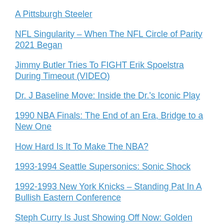A Pittsburgh Steeler
NFL Singularity – When The NFL Circle of Parity 2021 Began
Jimmy Butler Tries To FIGHT Erik Spoelstra During Timeout (VIDEO)
Dr. J Baseline Move: Inside the Dr.'s Iconic Play
1990 NBA Finals: The End of an Era, Bridge to a New One
How Hard Is It To Make The NBA?
1993-1994 Seattle Supersonics: Sonic Shock
1992-1993 New York Knicks – Standing Pat In A Bullish Eastern Conference
Steph Curry Is Just Showing Off Now: Golden State Star Sets 3-Point Record in NBA All-Star